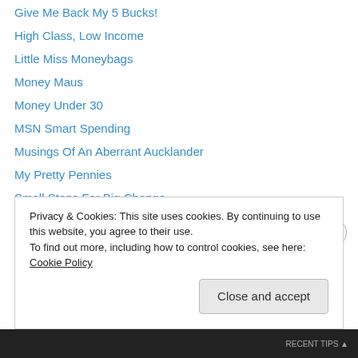Give Me Back My 5 Bucks!
High Class, Low Income
Little Miss Moneybags
Money Maus
Money Under 30
MSN Smart Spending
Musings Of An Aberrant Aucklander
My Pretty Pennies
Small Steps For Big Change
Stacking Pennies
TeachHer Finance
Well-Heeled, with a mission
Privacy & Cookies: This site uses cookies. By continuing to use this website, you agree to their use. To find out more, including how to control cookies, see here: Cookie Policy
Close and accept